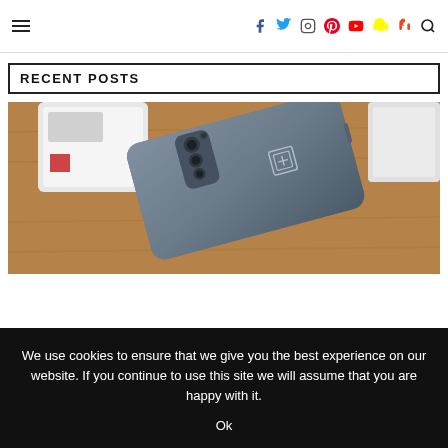≡  [social icons: f, twitter, instagram, pinterest, youtube, snapchat, stumbleupon, search]
RECENT POSTS
[Figure (photo): Back of a OnePlus smartphone lying on a wooden surface, with white object in background]
We use cookies to ensure that we give you the best experience on our website. If you continue to use this site we will assume that you are happy with it.
Ok